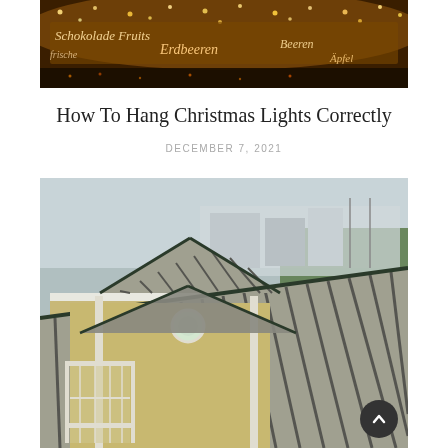[Figure (photo): Christmas market with festive lights, illuminated signs in German including 'Erdbeeren' (strawberries) and other text, warm golden bokeh lights in the background]
How To Hang Christmas Lights Correctly
DECEMBER 7, 2021
[Figure (photo): Aerial view of a house with a steep metal standing-seam roof with alternating dark and light stripes, yellow-beige siding with white trim, balconies, and a circular window. Other similar buildings visible in the background with trees and overcast sky.]